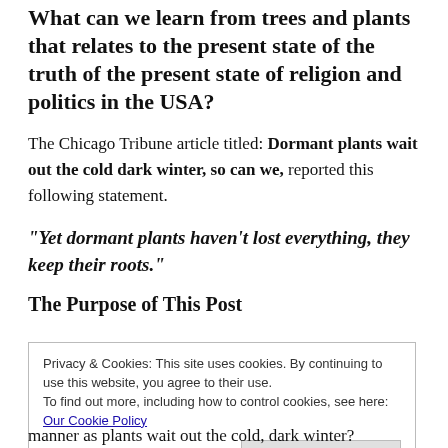What can we learn from trees and plants that relates to the present state of the truth of the present state of religion and politics in the USA?
The Chicago Tribune article titled: Dormant plants wait out the cold dark winter, so can we, reported this following statement.
“Yet dormant plants haven’t lost everything, they keep their roots.”
The Purpose of This Post
Privacy & Cookies: This site uses cookies. By continuing to use this website, you agree to their use.
To find out more, including how to control cookies, see here: Our Cookie Policy
manner as plants wait out the cold, dark winter?